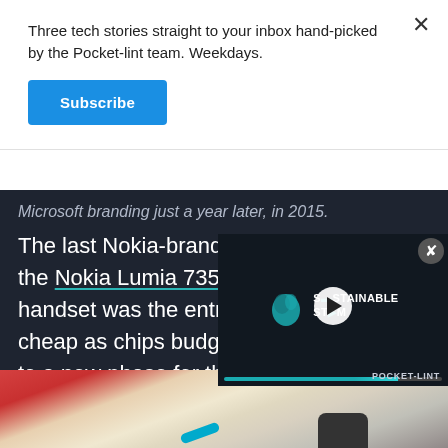Three tech stories straight to your inbox hand-picked by the Pocket-lint team. Weekdays.
Subscribe
Microsoft branding just a year later, in 2015.
The last Nokia-branded Windows Phone handset was the Nokia Lumia 735, while the first Microsoft handset was the entry-level cheap as chips budget option to a new phase for the Lumia
[Figure (screenshot): Video player overlay showing 'Sustainable Steam' logo with play button and progress bar, labeled POCKET-LINT]
[Figure (photo): Photo of hands writing or drawing with a blue pen/stylus on paper, with a dark phone object visible]